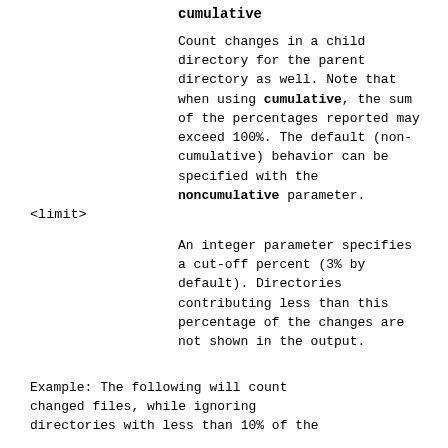cumulative
Count changes in a child directory for the parent directory as well. Note that when using cumulative, the sum of the percentages reported may exceed 100%. The default (non-cumulative) behavior can be specified with the noncumulative parameter.
<limit>
An integer parameter specifies a cut-off percent (3% by default). Directories contributing less than this percentage of the changes are not shown in the output.
Example: The following will count changed files, while ignoring directories with less than 10% of the